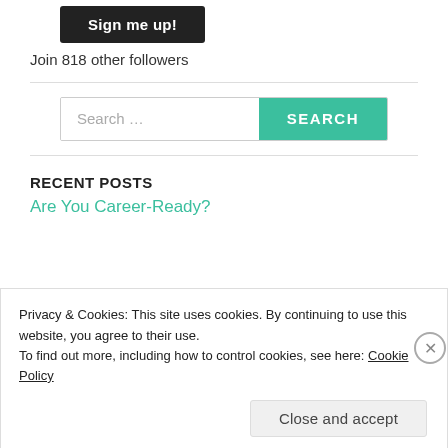[Figure (screenshot): Black 'Sign me up!' button]
Join 818 other followers
RECENT POSTS
Are You Career-Ready?
Privacy & Cookies: This site uses cookies. By continuing to use this website, you agree to their use.
To find out more, including how to control cookies, see here: Cookie Policy
Close and accept